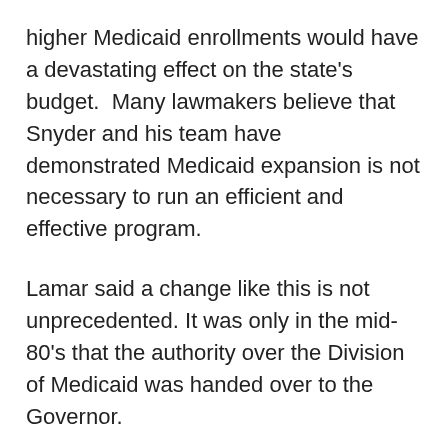higher Medicaid enrollments would have a devastating effect on the state's budget. Many lawmakers believe that Snyder and his team have demonstrated Medicaid expansion is not necessary to run an efficient and effective program.
Lamar said a change like this is not unprecedented. It was only in the mid-80's that the authority over the Division of Medicaid was handed over to the Governor.
“This would just be returning the state of Mississippi back to the way we use to do it and I think it makes sense,” said Lamar.